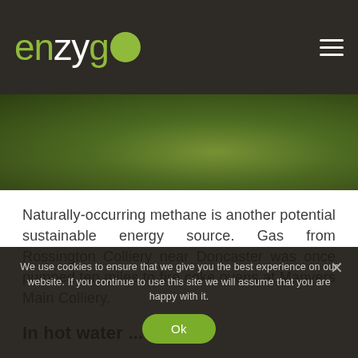enzygo
[Figure (photo): Grass field landscape photo strip]
Naturally-occurring methane is another potential sustainable energy source. Gas from Rossington Colliery near Doncaster was once pumped ten miles to fire coke ovens at Manvers Main Colliery.
In hot water ...
We use cookies to ensure that we give you the best experience on our website. If you continue to use this site we will assume that you are happy with it.